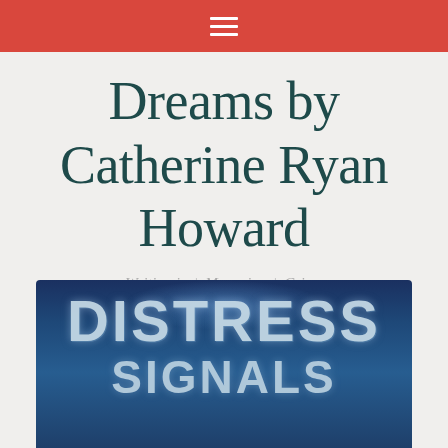≡
Dreams by Catherine Ryan Howard
Writing.ie | Magazine | Crime
[Figure (photo): Book cover of 'Distress Signals' showing large white textured letters 'DISTRESS' and partial 'SIGNALS' on a dark navy blue background with a glowing light effect at the top center.]